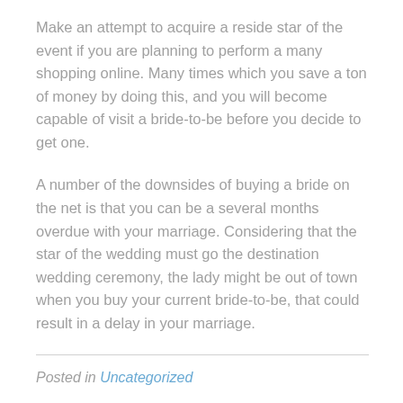Make an attempt to acquire a reside star of the event if you are planning to perform a many shopping online. Many times which you save a ton of money by doing this, and you will become capable of visit a bride-to-be before you decide to get one.
A number of the downsides of buying a bride on the net is that you can be a several months overdue with your marriage. Considering that the star of the wedding must go the destination wedding ceremony, the lady might be out of town when you buy your current bride-to-be, that could result in a delay in your marriage.
Posted in Uncategorized